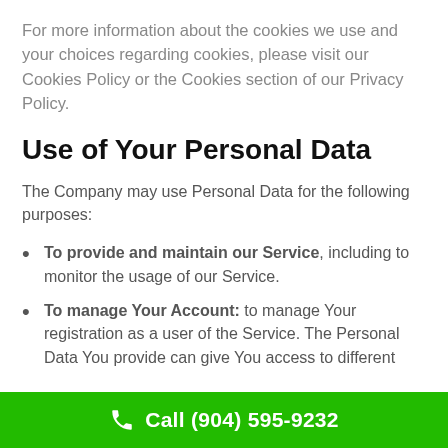For more information about the cookies we use and your choices regarding cookies, please visit our Cookies Policy or the Cookies section of our Privacy Policy.
Use of Your Personal Data
The Company may use Personal Data for the following purposes:
To provide and maintain our Service, including to monitor the usage of our Service.
To manage Your Account: to manage Your registration as a user of the Service. The Personal Data You provide can give You access to different
Call (904) 595-9232